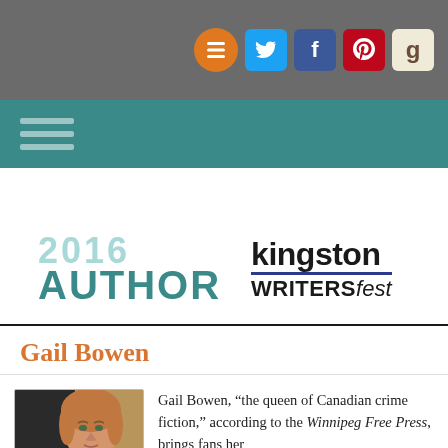Social icons: burgermenu, Twitter, Facebook, Pinterest, Goodreads
Navigation bar with hamburger menu
[Figure (logo): 2016 AUTHOR - Kingston WritersFest branding logo]
Gail Bowen
[Figure (photo): Portrait photo of Gail Bowen, a woman with reddish-blonde hair]
Gail Bowen, “the queen of Canadian crime fiction,” according to the Winnipeg Free Press, brings fans her